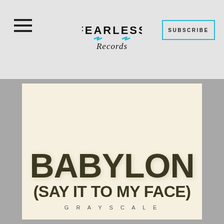Fearless Records — SUBSCRIBE
[Figure (illustration): Album art for 'Babylon (Say It To My Face)' by Grayscale on Fearless Records. Cream/off-white background with large bold dark text showing BABYLON on top line and (SAY IT TO MY FACE) on second line, with GRAYSCALE in spaced capitals below.]